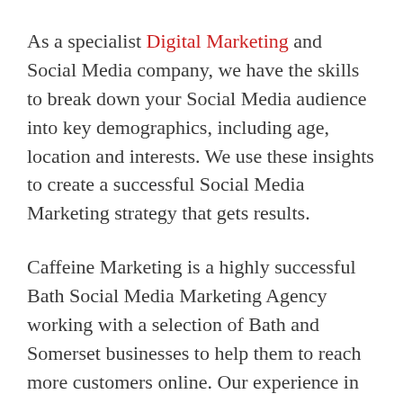As a specialist Digital Marketing and Social Media company, we have the skills to break down your Social Media audience into key demographics, including age, location and interests. We use these insights to create a successful Social Media Marketing strategy that gets results.
Caffeine Marketing is a highly successful Bath Social Media Marketing Agency working with a selection of Bath and Somerset businesses to help them to reach more customers online. Our experience in the industry gives us detailed insight into how to build affordable and impactful Social Media Marketing campaigns.
Every business is different, so we tailor our